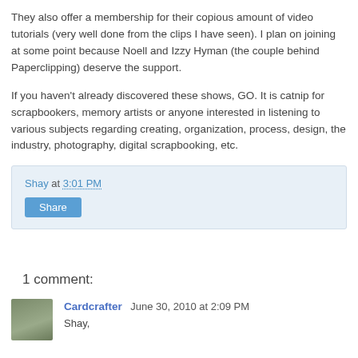They also offer a membership for their copious amount of video tutorials (very well done from the clips I have seen).  I plan on joining at some point because Noell and Izzy Hyman (the couple behind Paperclipping) deserve the support.
If you haven't already discovered these shows, GO.  It is catnip for scrapbookers, memory artists or anyone interested in listening to various subjects regarding creating, organization, process, design, the industry, photography, digital scrapbooking, etc.
Shay at 3:01 PM
Share
1 comment:
Cardcrafter  June 30, 2010 at 2:09 PM
Shay,